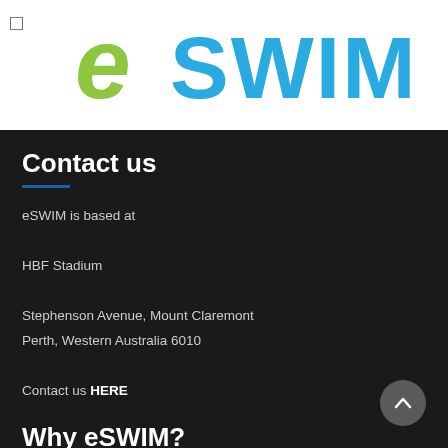[Figure (logo): eSWIM logo — green stylized 'e' and blue bubbly 'SWIM' lettering on white background]
Contact us
eSWIM is based at

HBF Stadium

Stephenson Avenue, Mount Claremont
Perth, Western Australia 6010

Contact us HERE
Why eSWIM?
✓ 17 years' experience
✓ Specialises in working with adults